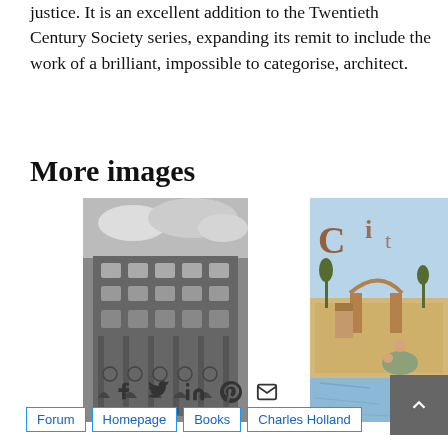justice. It is an excellent addition to the Twentieth Century Society series, expanding its remit to include the work of a brilliant, impossible to categorise, architect.
More images
[Figure (photo): Black and white photograph of an ornate multi-storey building facade with decorative windows and columns]
[Figure (photo): Colourful illustrated map or painting showing architectural structures near water with figures]
[Figure (infographic): Social media sharing icons: Facebook, Twitter, LinkedIn, Pinterest, Email, and a scroll-to-top button]
Forum
Homepage
Books
Charles Holland